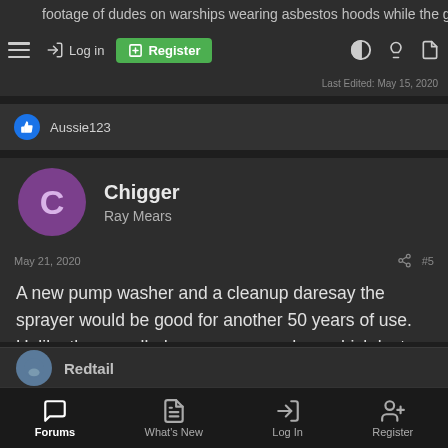footage of dudes on warships wearing asbestos hoods while the guns were firing.
Last Edited: May 15, 2020
Aussie123
Chigger
Ray Mears
May 21, 2020  #5
A new pump washer and a cleanup daresay the sprayer would be good for another 50 years of use. Unlike the so called sprayers nowadays which last probably one season and then fall to pieces or wear out.
Redtail
Forums  What's New  Log In  Register